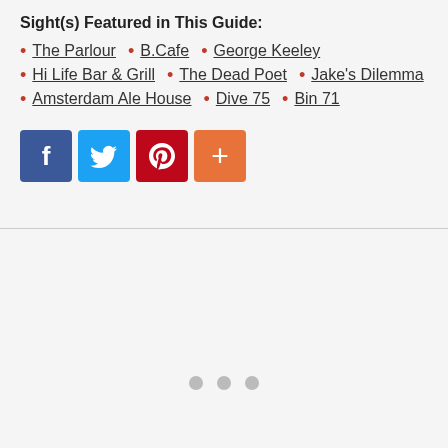Sight(s) Featured in This Guide:
The Parlour  •  B.Cafe  •  George Keeley
Hi Life Bar & Grill  •  The Dead Poet  •  Jake's Dilemma
Amsterdam Ale House  •  Dive 75  •  Bin 71
[Figure (infographic): Social share buttons: Facebook (blue), Twitter (light blue), Pinterest (red), plus/more (orange)]